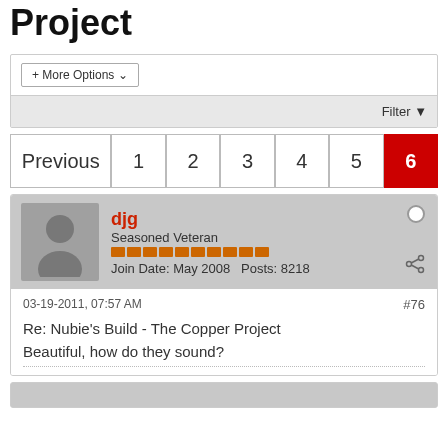Project
+ More Options
Filter
Previous 1 2 3 4 5 6
djg
Seasoned Veteran
Join Date: May 2008  Posts: 8218
03-19-2011, 07:57 AM
#76
Re: Nubie's Build - The Copper Project
Beautiful, how do they sound?